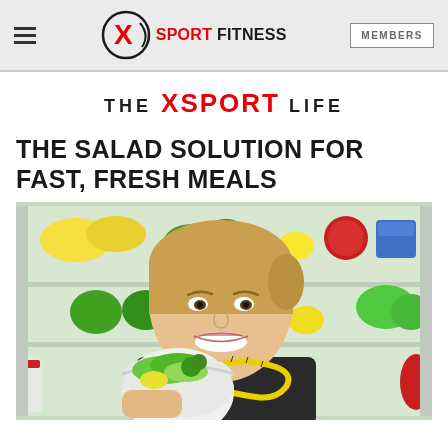XSport Fitness — navigation bar with hamburger menu, logo, and MEMBERS button
THE XSPORT LIFE
THE SALAD SOLUTION FOR FAST, FRESH MEALS
[Figure (photo): Smiling young woman holding a white bowl of salad with a yellow measuring tape around her neck, standing in front of an open refrigerator stocked with colorful fruits and vegetables.]